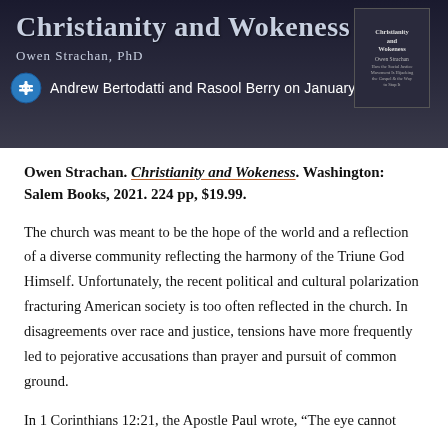Christianity and Wokeness — Owen Strachan, PhD — Andrew Bertodatti and Rasool Berry on January 11, 2022
Owen Strachan. Christianity and Wokeness. Washington: Salem Books, 2021. 224 pp, $19.99.
The church was meant to be the hope of the world and a reflection of a diverse community reflecting the harmony of the Triune God Himself. Unfortunately, the recent political and cultural polarization fracturing American society is too often reflected in the church. In disagreements over race and justice, tensions have more frequently led to pejorative accusations than prayer and pursuit of common ground.
In 1 Corinthians 12:21, the Apostle Paul wrote, “The eye cannot